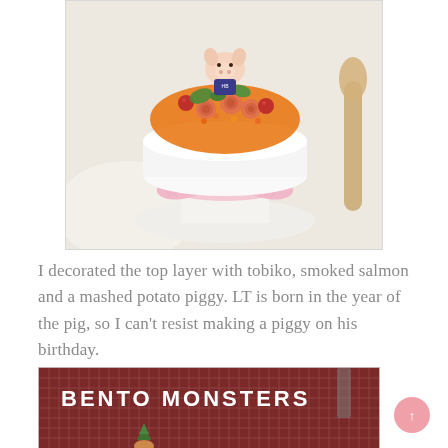[Figure (photo): A sushi birthday cake on a white pedestal with pink ribbon bow, decorated with tobiko (orange fish roe), smoked salmon roses, cherry tomatoes, green herbs, and a mashed potato piggy figure on top. White doily background with a wooden spoon visible to the right.]
I decorated the top layer with tobiko, smoked salmon and a mashed potato piggy. LT is born in the year of the pig, so I can't resist making a piggy on his birthday.
[Figure (photo): Bottom portion of a photo showing a dark red/maroon checkered fabric background with the text 'BENTO MONSTERS' in white bold letters, and a small colorful food decoration visible at the bottom.]